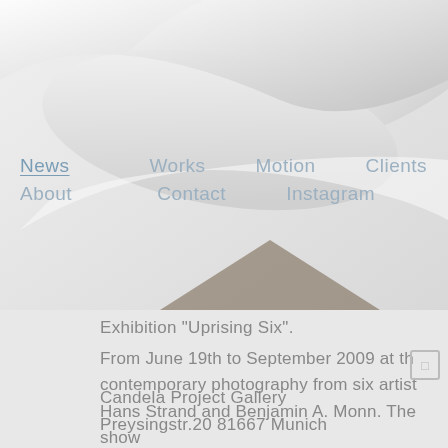[Figure (photo): Close-up photo of white curved sculptural or architectural forms against a light gray background, partially overlapping with navigation menu]
News
Works
Motion
Clients
About
Contact
Instagram
Exhibition "Uprising Six".
From June 19th to September 2009 at th contemporary photography from six artist Hans Strand and Benjamin A. Monn. The show
Candela Project Gallery
Preysingstr.20 81667 Munich